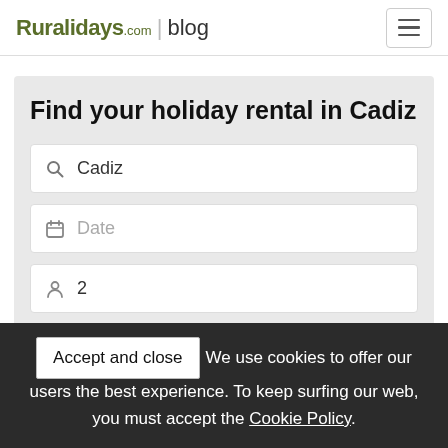Ruralidays.com | blog
Find your holiday rental in Cadiz
Cadiz
Date
2
Accept and close  We use cookies to offer our users the best experience. To keep surfing our web, you must accept the Cookie Policy.